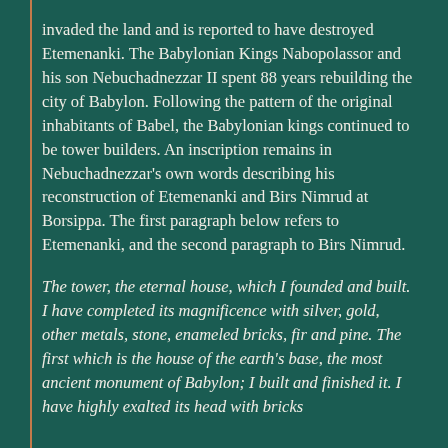invaded the land and is reported to have destroyed Etemenanki. The Babylonian Kings Nabopolassor and his son Nebuchadnezzar II spent 88 years rebuilding the city of Babylon. Following the pattern of the original inhabitants of Babel, the Babylonian kings continued to be tower builders. An inscription remains in Nebuchadnezzar's own words describing his reconstruction of Etemenanki and Birs Nimrud at Borsippa. The first paragraph below refers to Etemenanki, and the second paragraph to Birs Nimrud.
The tower, the eternal house, which I founded and built. I have completed its magnificence with silver, gold, other metals, stone, enameled bricks, fir and pine. The first which is the house of the earth's base, the most ancient monument of Babylon; I built and finished it. I have highly exalted its head with bricks